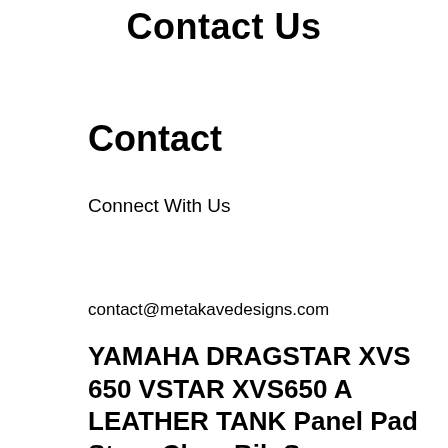Contact Us
Contact
Connect With Us
contact@metakavedesigns.com
YAMAHA DRAGSTAR XVS 650 VSTAR XVS650 A LEATHER TANK Panel Pad Strap Chap Bib Sp